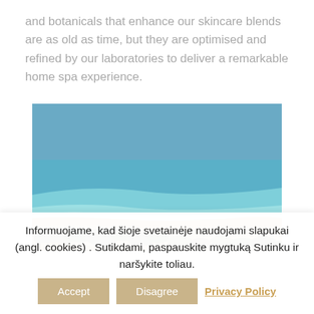and botanicals that enhance our skincare blends are as old as time, but they are optimised and refined by our laboratories to deliver a remarkable home spa experience.
[Figure (photo): Aerial or elevated view of a coastal landscape with blue sea water, white surf at the shoreline, sandy beach, and dry scrubby vegetation in the foreground.]
Informuojame, kad šioje svetainėje naudojami slapukai (angl. cookies) . Sutikdami, paspauskite mygtuką Sutinku ir naršykite toliau. Accept Disagree Privacy Policy